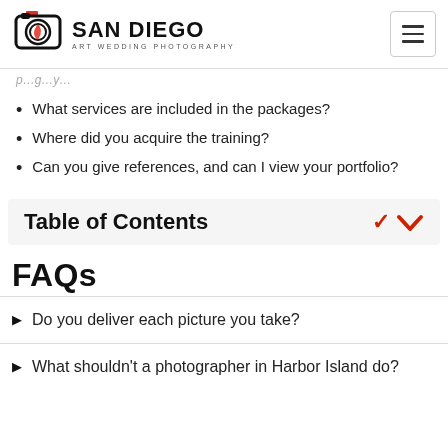SAN DIEGO ART WEDDING PHOTOGRAPHY
What services are included in the packages?
Where did you acquire the training?
Can you give references, and can I view your portfolio?
Table of Contents
FAQs
Do you deliver each picture you take?
What shouldn't a photographer in Harbor Island do?